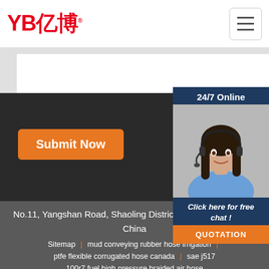[Figure (logo): YB亿博 company logo in red]
[Figure (screenshot): Hamburger menu button]
[Figure (photo): Customer service representative with headset, 24/7 Online chat widget]
Click here for free chat !
QUOTATION
Submit Now
No.11, Yangshan Road, Shaoling District, Luoyang Province, China
Sitemap | mud conveying rubber hose irrigation | ptfe flexible corrugated hose canada | sae j517 100r7 fuel high pressure braided air hose